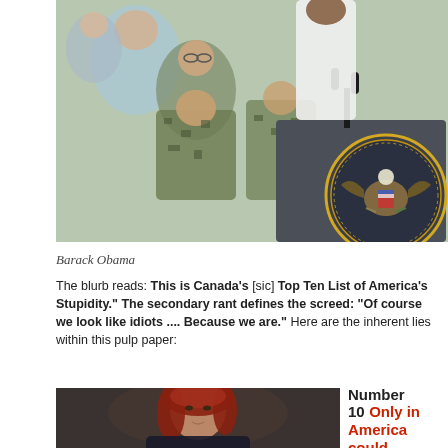[Figure (photo): Photo of Barack Obama at a presidential podium with the Presidential Seal, audience of military personnel in background]
Barack Obama
The blurb reads: This is Canada's [sic] Top Ten List of America's Stupidity." The secondary rant defines the screed: "Of course we look like idiots .... Because we are." Here are the inherent lies within this pulp paper:
[Figure (photo): Photo of a red-haired woman on a dark background]
Number 10  Only in America could politicians talk...